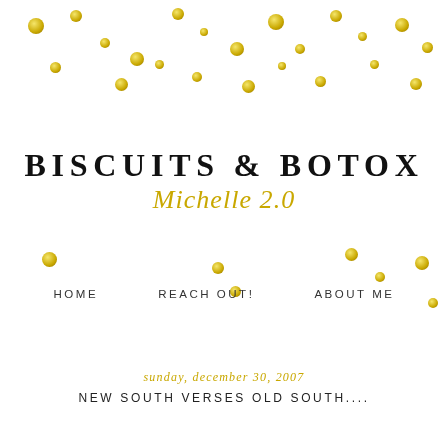[Figure (illustration): Gold confetti dots scattered across the top and middle of the page as decorative elements]
BISCUITS & BOTOX Michelle 2.0
HOME   REACH OUT!   ABOUT ME
sunday, december 30, 2007
NEW SOUTH VERSES OLD SOUTH....